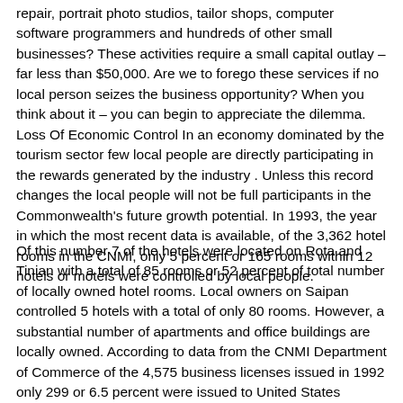repair, portrait photo studios, tailor shops, computer software programmers and hundreds of other small businesses? These activities require a small capital outlay – far less than $50,000. Are we to forego these services if no local person seizes the business opportunity? When you think about it – you can begin to appreciate the dilemma. Loss Of Economic Control In an economy dominated by the tourism sector few local people are directly participating in the rewards generated by the industry . Unless this record changes the local people will not be full participants in the Commonwealth's future growth potential. In 1993, the year in which the most recent data is available, of the 3,362 hotel rooms in the CNMI, only 5 percent or 165 rooms within 12 hotels or motels were controlled by local people.
Of this number 7 of the hotels were located on Rota and Tinian with a total of 85 rooms or 52 percent of total number of locally owned hotel rooms. Local owners on Saipan controlled 5 hotels with a total of only 80 rooms. However, a substantial number of apartments and office buildings are locally owned. According to data from the CNMI Department of Commerce of the 4,575 business licenses issued in 1992 only 299 or 6.5 percent were issued to United States citizens